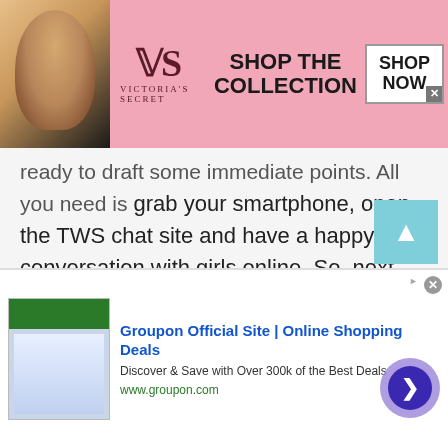[Figure (other): Victoria's Secret advertisement banner with a model, VS logo, 'SHOP THE COLLECTION' text, and 'SHOP NOW' button on a pink background]
ready to draft some immediate points. All you need is grab your smartphone, open the TWS chat site and have a happy conversation with girls online. So, next time you think talking to strangers in Argentina is quite difficult, don't forget to browse the talkwithstranger app. It will help you explore friends or new people in a better way. No doubt, it's simply amazing to experience a lot of fun and joy with millions of new people online!
[Figure (other): Groupon advertisement with logo image, title 'Groupon Official Site | Online Shopping Deals', description 'Discover & Save with Over 300k of the Best Deals', URL 'www.groupon.com', with a navigation arrow button]